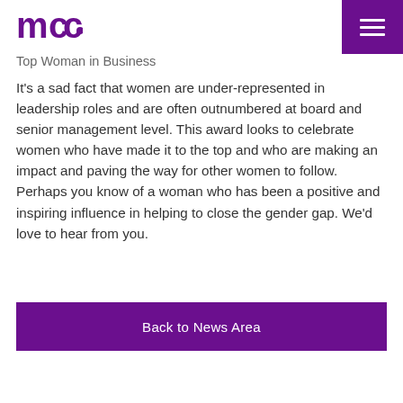MCC logo and navigation menu
Top Woman in Business
It's a sad fact that women are under-represented in leadership roles and are often outnumbered at board and senior management level. This award looks to celebrate women who have made it to the top and who are making an impact and paving the way for other women to follow. Perhaps you know of a woman who has been a positive and inspiring influence in helping to close the gender gap. We'd love to hear from you.
Back to News Area